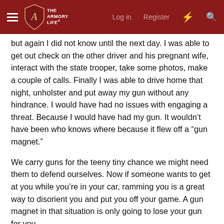THE ARMORY LIFE — Log in  Register
but again I did not know until the next day. I was able to get out check on the other driver and his pregnant wife, interact with the state trooper, take some photos, make a couple of calls. Finally I was able to drive home that night, unholster and put away my gun without any hindrance. I would have had no issues with engaging a threat. Because I would have had my gun. It wouldn't have been who knows where because it flew off a "gun magnet."
We carry guns for the teeny tiny chance we might need them to defend ourselves. Now if someone wants to get at you while you're in your car, ramming you is a great way to disorient you and put you off your game. A gun magnet in that situation is only going to lose your gun for you.
Force calculations: